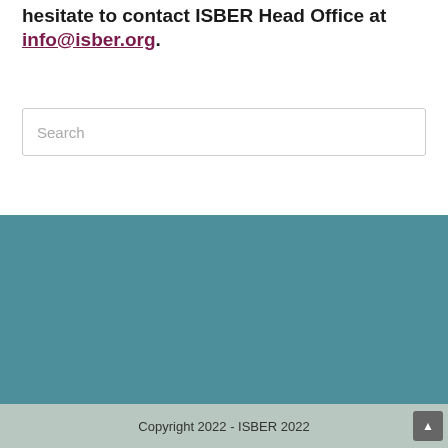hesitate to contact ISBER Head Office at info@isber.org.
Search
Copyright 2022 - ISBER 2022